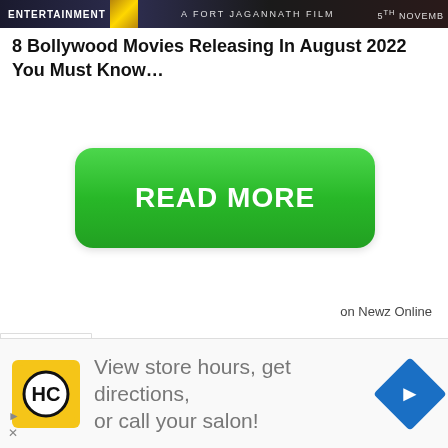[Figure (screenshot): Entertainment banner/header with gold icon and film title text on dark background]
8 Bollywood Movies Releasing In August 2022 You Must Know…
[Figure (other): Green rounded rectangle READ MORE button]
on Newz Online
[Figure (other): Dropdown chevron tab at left edge]
[Figure (other): Advertisement bar: HC logo, text 'View store hours, get directions, or call your salon!', blue diamond arrow icon]